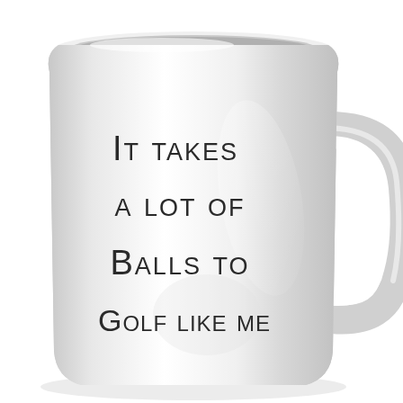[Figure (illustration): A white ceramic coffee mug with a handle on the right side. The mug has text printed on it reading: IT TAKES A LOT OF BALLS TO GOLF LIKE ME, displayed in a casual hand-lettered style black font across four lines on the front face of the mug.]